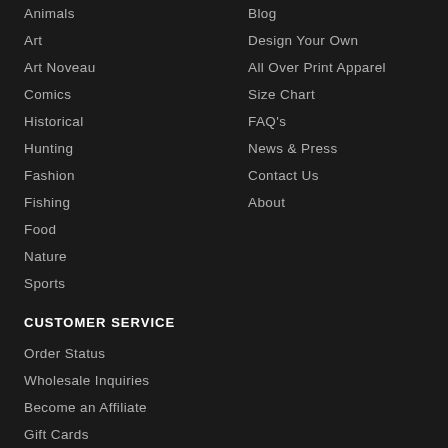Animals
Art
Art Noveau
Comics
Historical
Hunting
Fashion
Fishing
Food
Nature
Sports
Blog
Design Your Own
All Over Print Apparel
Size Chart
FAQ's
News & Press
Contact Us
About
CUSTOMER SERVICE
Order Status
Wholesale Inquiries
Become an Affiliate
Gift Cards
Shipping
Return & Exchanges
Copyright Concerns